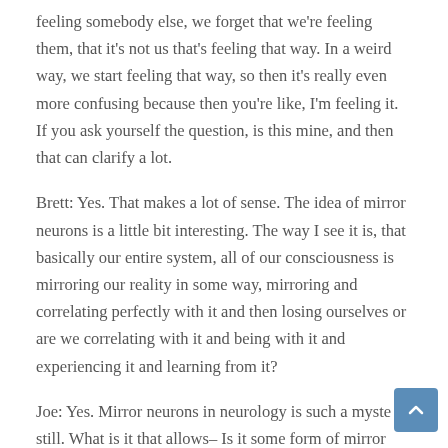feeling somebody else, we forget that we're feeling them, that it's not us that's feeling that way. In a weird way, we start feeling that way, so then it's really even more confusing because then you're like, I'm feeling it. If you ask yourself the question, is this mine, and then that can clarify a lot.
Brett: Yes. That makes a lot of sense. The idea of mirror neurons is a little bit interesting. The way I see it is, that basically our entire system, all of our consciousness is mirroring our reality in some way, mirroring and correlating perfectly with it and then losing ourselves or are we correlating with it and being with it and experiencing it and learning from it?
Joe: Yes. Mirror neurons in neurology is such a myste still. What is it that allows– Is it some form of mirror